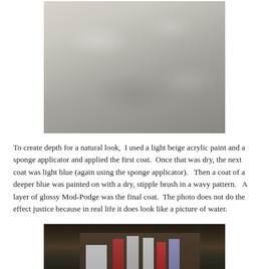[Figure (photo): Close-up photo of an embossed or textured surface painted in light whitish-gray tones, showing subtle raised patterns suggesting an underwater or water-like texture.]
To create depth for a natural look,  I used a light beige acrylic paint and a sponge applicator and applied the first coat.  Once that was dry, the next coat was light blue (again using the sponge applicator).   Then a coat of a deeper blue was painted on with a dry, stipple brush in a wavy pattern.   A layer of glossy Mod-Podge was the final coat.  The photo does not do the effect justice because in real life it does look like a picture of water.
[Figure (photo): Photo of a craft workspace showing various acrylic paint bottles, a white canvas or paper, and shelving with art supplies in the background.]